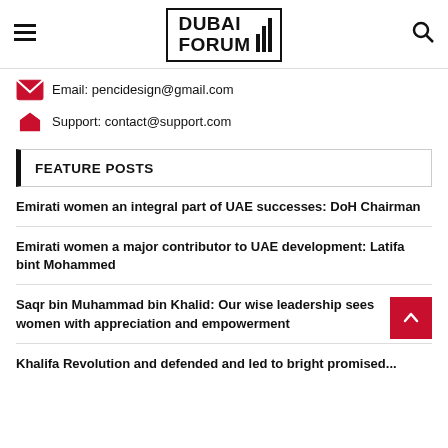Dubai Forum
Email: pencidesign@gmail.com
Support: contact@support.com
FEATURE POSTS
Emirati women an integral part of UAE successes: DoH Chairman
Emirati women a major contributor to UAE development: Latifa bint Mohammed
Saqr bin Muhammad bin Khalid: Our wise leadership sees women with appreciation and empowerment
Khalifa Revolution defended and led to bright promised...